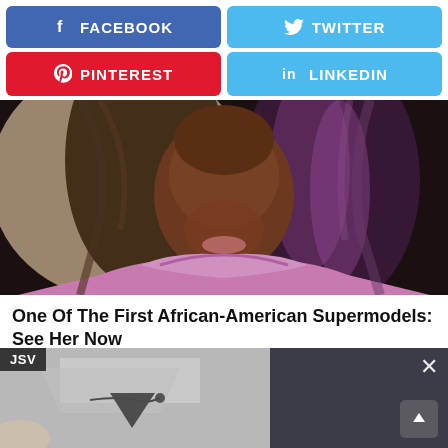[Figure (infographic): Social media share buttons: Facebook (blue), Twitter (light blue), Pinterest (red), LinkedIn (light blue)]
[Figure (photo): African-American woman with long brown-purple ombre hair wearing a pink tweed top, close-up portrait]
One Of The First African-American Supermodels: See Her Now
HERBEAUTY
[Figure (screenshot): Bottom UI strip: left side shows JSV label with gray product image overlay; right side is dark gray panel with X close button and upward arrow navigation button]